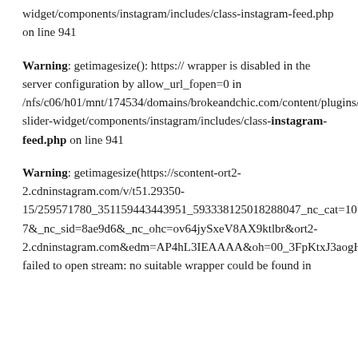widget/components/instagram/includes/class-instagram-feed.php on line 941
Warning: getimagesize(): https:// wrapper is disabled in the server configuration by allow_url_fopen=0 in /nfs/c06/h01/mnt/174534/domains/brokeandchic.com/content/plugins/instagram-slider-widget/components/instagram/includes/class-instagram-feed.php on line 941
Warning: getimagesize(https://scontent-ort2-2.cdninstagram.com/v/t51.29350-15/259571780_351159443443951_593338125018288047_nc_cat=101&ccb=1-7&_nc_sid=8ae9d6&_nc_ohc=ov64jySxeV8AX9ktlbr&ort2-2.cdninstagram.com&edm=AP4hL3IEAAAA&oh=00_3FpKtxJ3aogHtQw78A&oe=63028ACB): failed to open stream: no suitable wrapper could be found in